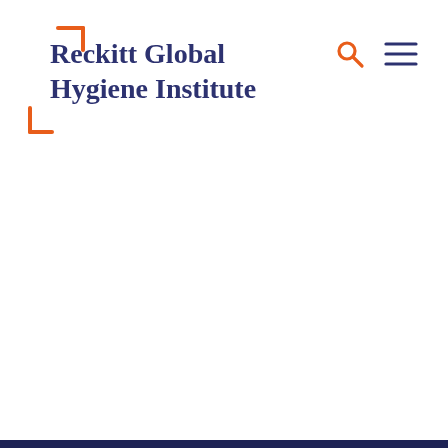[Figure (logo): Reckitt Global Hygiene Institute logo with orange bracket decoration and dark navy text]
[Figure (other): Search icon (magnifying glass) and hamburger menu icon in orange color, top right navigation]